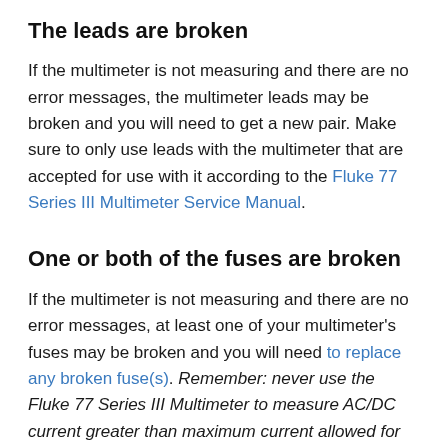The leads are broken
If the multimeter is not measuring and there are no error messages, the multimeter leads may be broken and you will need to get a new pair. Make sure to only use leads with the multimeter that are accepted for use with it according to the Fluke 77 Series III Multimeter Service Manual.
One or both of the fuses are broken
If the multimeter is not measuring and there are no error messages, at least one of your multimeter's fuses may be broken and you will need to replace any broken fuse(s). Remember: never use the Fluke 77 Series III Multimeter to measure AC/DC current greater than maximum current allowed for the input port you are